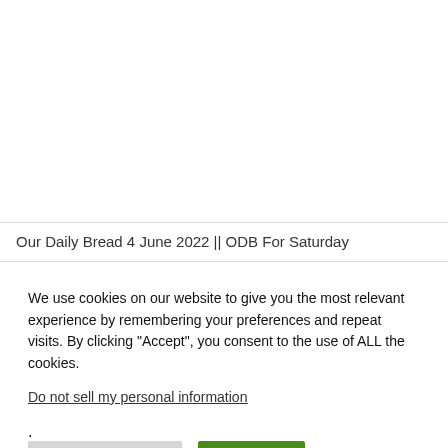Our Daily Bread 4 June 2022 || ODB For Saturday
We use cookies on our website to give you the most relevant experience by remembering your preferences and repeat visits. By clicking “Accept”, you consent to the use of ALL the cookies.
Do not sell my personal information.